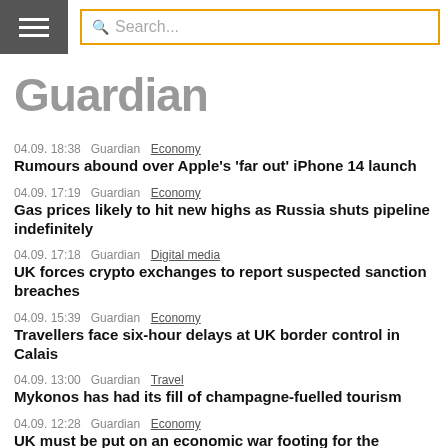Guardian — Search...
Guardian
04.09. 18:38  Guardian  Economy
Rumours abound over Apple's 'far out' iPhone 14 launch
04.09. 17:19  Guardian  Economy
Gas prices likely to hit new highs as Russia shuts pipeline indefinitely
04.09. 17:18  Guardian  Digital media
UK forces crypto exchanges to report suspected sanction breaches
04.09. 15:39  Guardian  Economy
Travellers face six-hour delays at UK border control in Calais
04.09. 13:00  Guardian  Travel
Mykonos has had its fill of champagne-fuelled tourism
04.09. 12:28  Guardian  Economy
UK must be put on an economic war footing for the coming recession | Larry Elliott
04.09. 12:00  Guardian  Travel